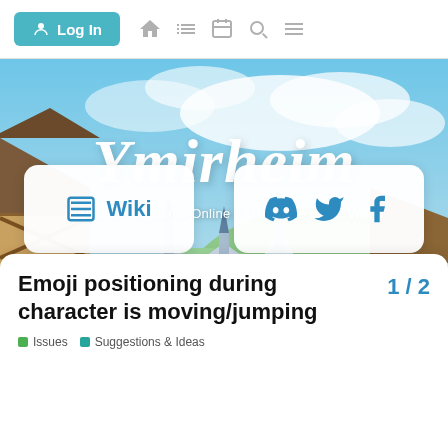Log In [nav icons: home, list, id-card, search, menu]
[Figure (illustration): Fantasy game hero banner with illustrated medieval town buildings on left, a white castle with blue spired towers in background, mountains, and blue sky with white clouds. Large script title 'Ymirheim' in white italic font. Subtitle: 'Revival of Ragnarok Online 2: The Gate of the World'. Two white rounded cards: left card shows Wiki icon and label, right card shows Discord, Twitter, Facebook social icons.]
Ymirheim
Revival of Ragnarok Online 2: The Gate of the World
Wiki
Emoji positioning during character is moving/jumping   1 / 2
Issues   Suggestions & Ideas